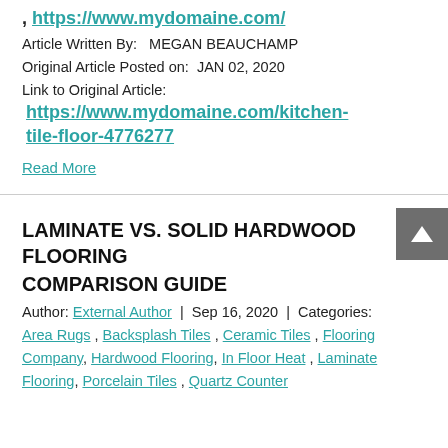, https://www.mydomaine.com/
Article Written By:   MEGAN BEAUCHAMP
Original Article Posted on:  JAN 02, 2020
Link to Original Article:
https://www.mydomaine.com/kitchen-tile-floor-4776277
Read More
LAMINATE VS. SOLID HARDWOOD FLOORING
COMPARISON GUIDE
Author: External Author | Sep 16, 2020 | Categories:
Area Rugs , Backsplash Tiles , Ceramic Tiles , Flooring Company , Hardwood Flooring , In Floor Heat , Laminate Flooring , Porcelain Tiles , Quartz Counter